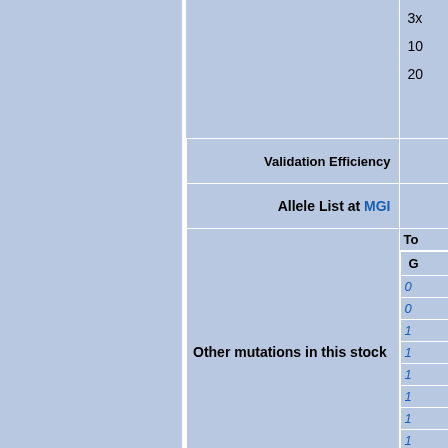| Label | Value |
| --- | --- |
|  | 3x | 10 | 20 |
| Validation Efficiency |  |
| Allele List at MGI |  |
| Other mutations in this stock | To... | G... | 0 | 0 | 1 | 1 | 1 | 1 | 1 | 1 | 1 |